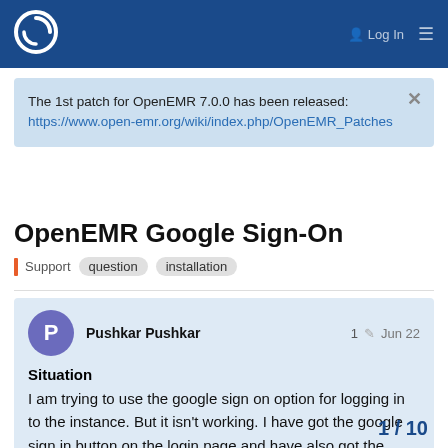OpenEMR community header with logo and Log In navigation
The 1st patch for OpenEMR 7.0.0 has been released: https://www.open-emr.org/wiki/index.php/OpenEMR_Patches
OpenEMR Google Sign-On
Support  question  installation
Pushkar Pushkar  1  Jun 22
Situation
I am trying to use the google sign on option for logging in to the instance. But it isn't working. I have got the google sign in button on the login page and have also got the client id from google.
1 / 10